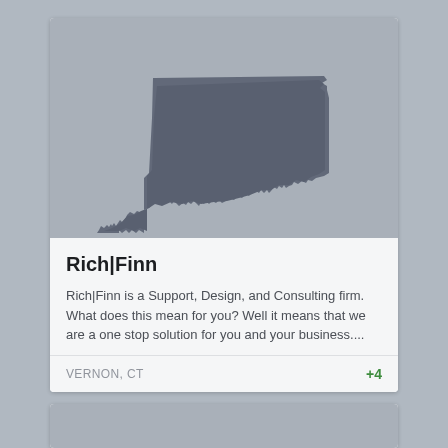[Figure (map): Silhouette of the state of Connecticut in dark gray on a light gray background, used as a placeholder/profile image for a business listing card.]
Rich|Finn
Rich|Finn is a Support, Design, and Consulting firm. What does this mean for you? Well it means that we are a one stop solution for you and your business....
VERNON, CT
+4